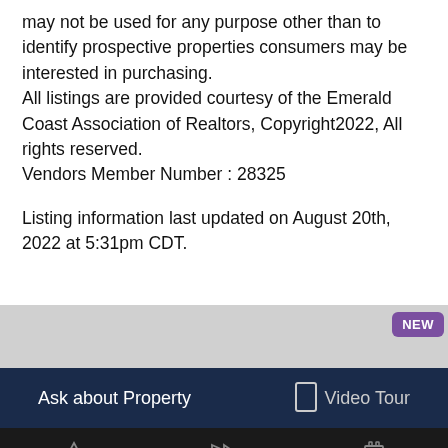may not be used for any purpose other than to identify prospective properties consumers may be interested in purchasing.
All listings are provided courtesy of the Emerald Coast Association of Realtors, Copyright2022, All rights reserved.
Vendors Member Number : 28325

Listing information last updated on August 20th, 2022 at 5:31pm CDT.
NEW
Ask about Property
Video Tour